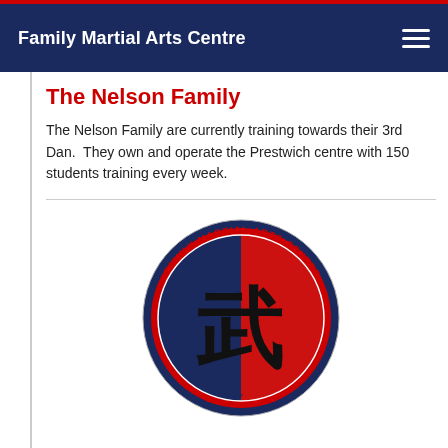Family Martial Arts Centre
The Nelson Family
The Nelson Family are currently training towards their 3rd Dan.  They own and operate the Prestwich centre with 150 students training every week.
[Figure (logo): Family Martial Arts Centres circular logo with Chinese character in centre, blue and red design]